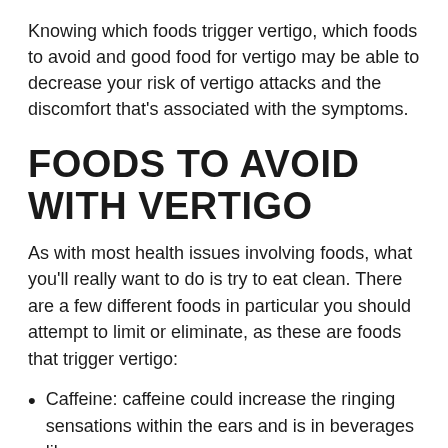Knowing which foods trigger vertigo, which foods to avoid and good food for vertigo may be able to decrease your risk of vertigo attacks and the discomfort that's associated with the symptoms.
FOODS TO AVOID WITH VERTIGO
As with most health issues involving foods, what you'll really want to do is try to eat clean. There are a few different foods in particular you should attempt to limit or eliminate, as these are foods that trigger vertigo:
Caffeine: caffeine could increase the ringing sensations within the ears and is in beverages like